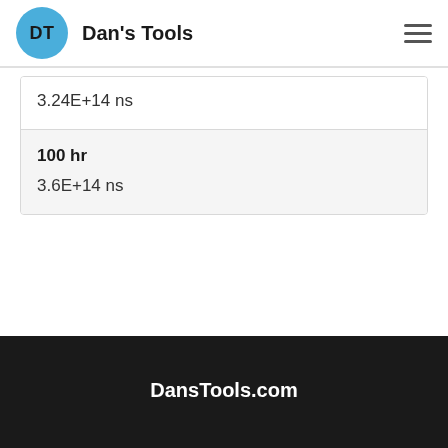DT Dan's Tools
3.24E+14 ns
100 hr
3.6E+14 ns
DansTools.com